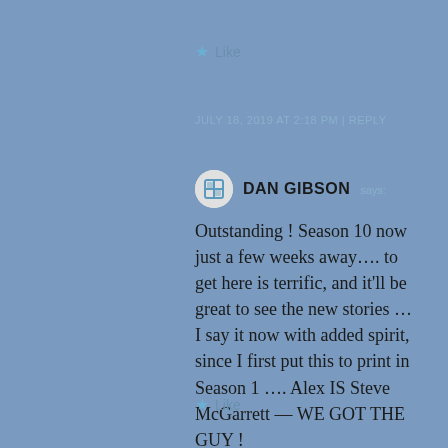Like
JULY 18, 2019 AT 2:18 PM | REPLY
DAN GIBSON says: Outstanding ! Season 10 now just a few weeks away…. to get here is terrific, and it'll be great to see the new stories … I say it now with added spirit, since I first put this to print in Season 1 …. Alex IS Steve McGarrett — WE GOT THE GUY !
Like